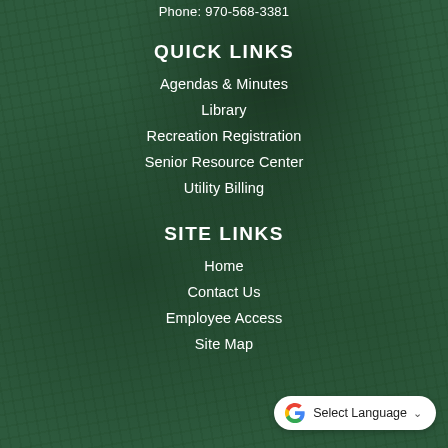Phone: 970-568-3381
QUICK LINKS
Agendas & Minutes
Library
Recreation Registration
Senior Resource Center
Utility Billing
SITE LINKS
Home
Contact Us
Employee Access
Site Map